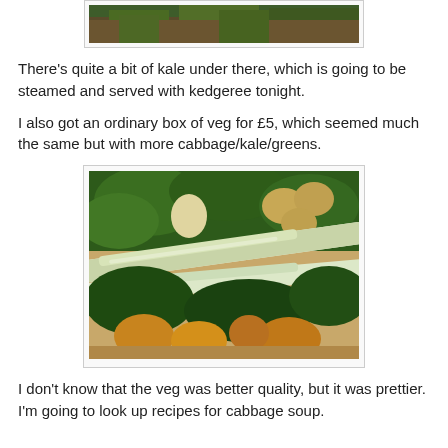[Figure (photo): Partial photo of kale vegetables, top portion only visible]
There's quite a bit of kale under there, which is going to be steamed and served with kedgeree tonight.
I also got an ordinary box of veg for £5, which seemed much the same but with more cabbage/kale/greens.
[Figure (photo): A cardboard box full of vegetables including leeks, kale, potatoes, onions and other greens]
I don't know that the veg was better quality, but it was prettier. I'm going to look up recipes for cabbage soup.